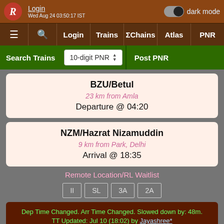Login | dark mode | Wed Aug 24 03:50:17 IST
≡ 🔍 Login | Trains | ΣChains | Atlas | PNR
Search Trains | 10-digit PNR | Post PNR
BZU/Betul
23 km from Amla
Departure @ 04:20
NZM/Hazrat Nizamuddin
9 km from Park, Delhi
Arrival @ 18:35
Remote Location/RL Waitlist
II | SL | 3A | 2A
Dep Time Changed. Arr Time Changed. Slowed down by: 48m.
TT Updated: Jul 10 (18:02) by Jayashree*